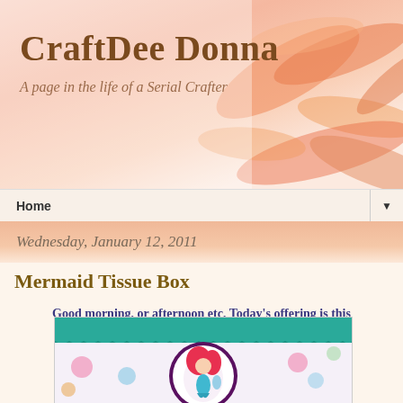CraftDee Donna
A page in the life of a Serial Crafter
Home
Wednesday, January 12, 2011
Mermaid Tissue Box
Good morning, or afternoon etc, Today's offering is this tissue box:
[Figure (photo): A decorated mermaid tissue box with teal fabric top, mermaid print patterned sides, and a circular medallion featuring a cartoon mermaid with red hair.]